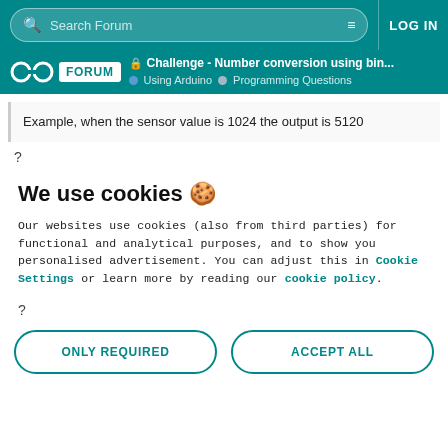Search Forum | LOG IN
Challenge - Number conversion using bin... | Using Arduino | Programming Questions
Example, when the sensor value is 1024 the output is 5120
?
We use cookies 🍪
Our websites use cookies (also from third parties) for functional and analytical purposes, and to show you personalised advertisement. You can adjust this in Cookie Settings or learn more by reading our cookie policy.
?
ONLY REQUIRED
ACCEPT ALL